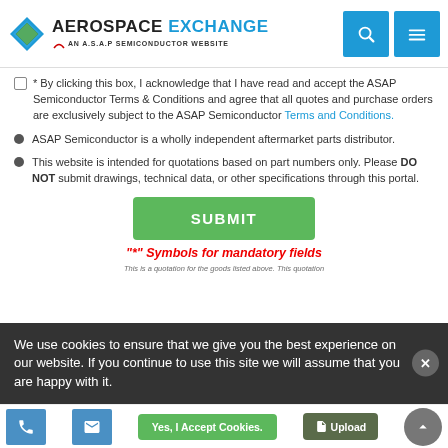AEROSPACE EXCHANGE — AN A.S.A.P SEMICONDUCTOR WEBSITE
* By clicking this box, I acknowledge that I have read and accept the ASAP Semiconductor Terms & Conditions and agree that all quotes and purchase orders are exclusively subject to the ASAP Semiconductor Terms and Conditions.
ASAP Semiconductor is a wholly independent aftermarket parts distributor.
This website is intended for quotations based on part numbers only. Please DO NOT submit drawings, technical data, or other specifications through this portal.
SUBMIT
"*" Symbols for mandatory fields
This is a quotation for the goods listed above. This quotation...
We use cookies to ensure that we give you the best experience on our website. If you continue to use this site we will assume that you are happy with it.
Yes, I Accept Cookies.
Upload